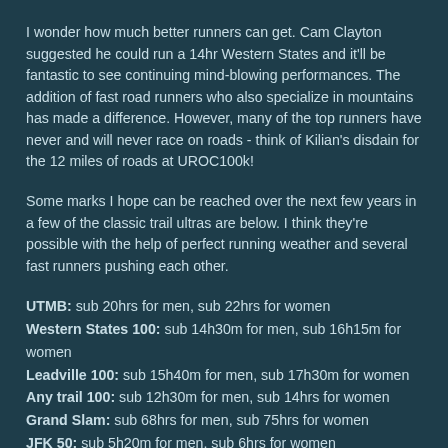I wonder how much better runners can get. Cam Clayton suggested he could run a 14hr Western States and it'll be fantastic to see continuing mind-blowing performances. The addition of fast road runners who also specialize in mountains has made a difference. However, many of the top runners have never and will never race on roads - think of Kilian's disdain for the 12 miles of roads at UROC100k!
Some marks I hope can be reached over the next few years in a few of the classic trail ultras are below. I think they're possible with the help of perfect running weather and several fast runners pushing each other.
UTMB: sub 20hrs for men, sub 22hrs for women
Western States 100: sub 14h30m for men, sub 16h15m for women
Leadville 100: sub 15h40m for men, sub 17h30m for women
Any trail 100: sub 12h30m for men, sub 14hrs for women
Grand Slam: sub 68hrs for men, sub 75hrs for women
JFK 50: sub 5h20m for men, sub 6hrs for women